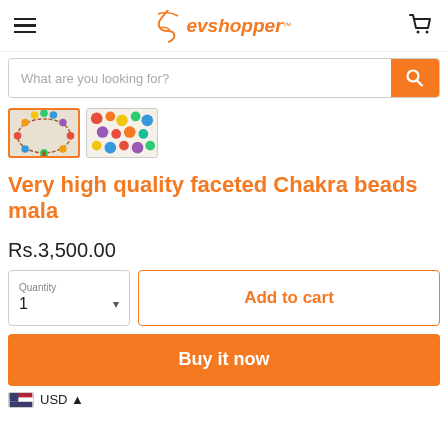evshopper
What are you looking for?
[Figure (photo): Two product thumbnail images of chakra beads mala]
Very high quality faceted Chakra beads mala
Rs.3,500.00
Quantity 1
Add to cart
Buy it now
USD